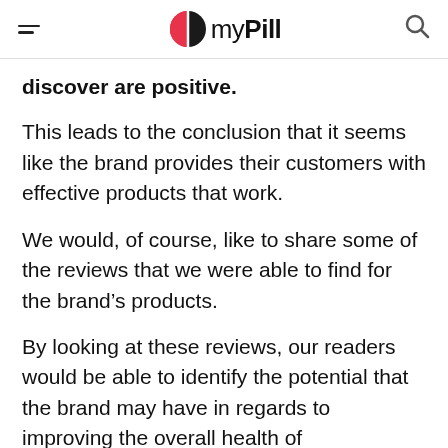myPill
discover are positive.
This leads to the conclusion that it seems like the brand provides their customers with effective products that work.
We would, of course, like to share some of the reviews that we were able to find for the brand’s products.
By looking at these reviews, our readers would be able to identify the potential that the brand may have in regards to improving the overall health of